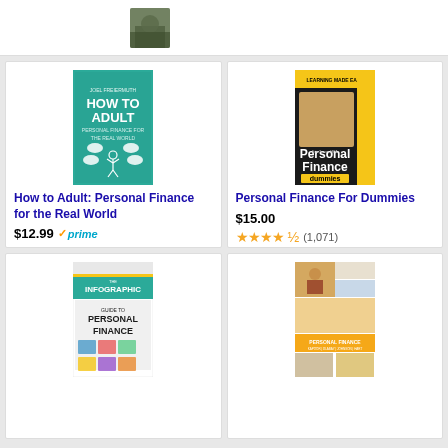[Figure (photo): User avatar/profile photo thumbnail in top bar]
[Figure (photo): Book cover: How to Adult: Personal Finance for the Real World - teal cover with stick figure]
How to Adult: Personal Finance for the Real World
$12.99
prime
★★★★★ (256)
[Figure (photo): Book cover: Personal Finance For Dummies - black and yellow cover]
Personal Finance For Dummies
$15.00
★★★★½ (1,071)
[Figure (photo): Book cover: The Infographic Guide to Personal Finance]
[Figure (photo): Book cover: Personal Finance textbook with collage of people on cover]